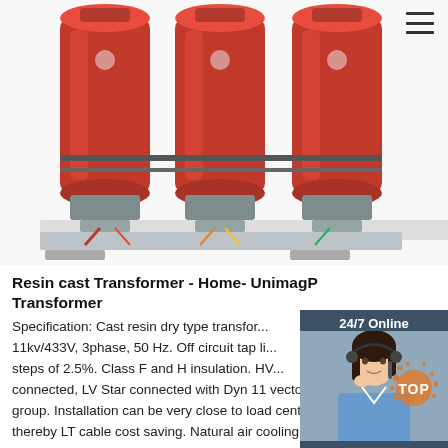[Figure (photo): Three red resin cast dry type transformer coils mounted on a base frame with wiring connections visible at the bottom]
[Figure (photo): 24/7 Online chat widget with a smiling female customer service representative wearing a headset, with a 'Click here for free chat!' link and an orange QUOTATION button]
Resin cast Transformer - Home- UnimagP Transformer
Specification: Cast resin dry type transformer 11kv/433V, 3phase, 50 Hz. Off circuit tap li... steps of 2.5%. Class F and H insulation. HV... connected, LV Star connected with Dyn 11 vector group. Installation can be very close to load center, thereby LT cable cost saving. Natural air cooling and forced air cooling.
[Figure (logo): Orange TOP badge/watermark logo in bottom right corner]
Get Price